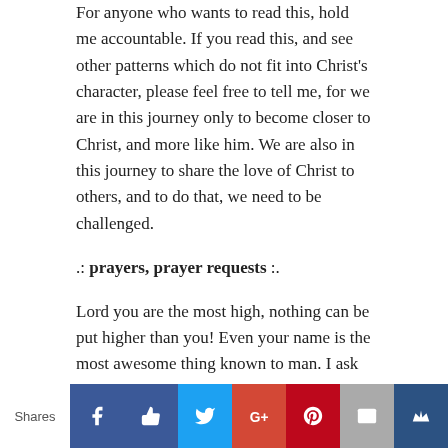For anyone who wants to read this, hold me accountable. If you read this, and see other patterns which do not fit into Christ's character, please feel free to tell me, for we are in this journey only to become closer to Christ, and more like him. We are also in this journey to share the love of Christ to others, and to do that, we need to be challenged.
.: prayers, prayer requests :.
Lord you are the most high, nothing can be put higher than you! Even your name is the most awesome thing known to man. I ask all that follows in your name...
I have been writing drafts of my support letter for
Shares